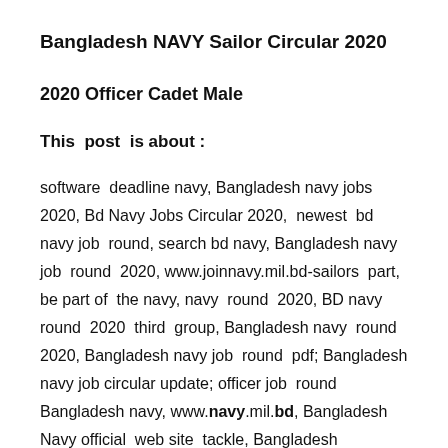Bangladesh NAVY Sailor Circular 2020
2020 Officer Cadet Male
This  post  is about :
software  deadline navy, Bangladesh navy jobs 2020, Bd Navy Jobs Circular 2020,  newest  bd navy job  round, search bd navy, Bangladesh navy job  round  2020, www.joinnavy.mil.bd-sailors  part,  be part of  the navy, navy  round  2020, BD navy  round  2020  third  group, Bangladesh navy  round  2020, Bangladesh navy job  round  pdf; Bangladesh navy job circular update; officer job  round  Bangladesh navy, www.navy.mil.bd, Bangladesh Navy official  web site  tackle, Bangladesh